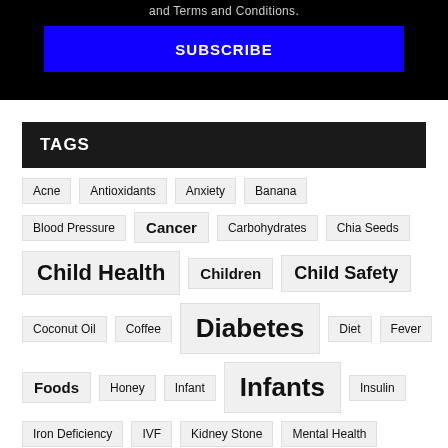[Figure (screenshot): Black banner with partial text 'and Terms and Conditions.' and a blue SUBSCRIBE button]
TAGS
Acne
Antioxidants
Anxiety
Banana
Blood Pressure
Cancer
Carbohydrates
Chia Seeds
Child Health
Children
Child Safety
Coconut Oil
Coffee
Diabetes
Diet
Fever
Foods
Honey
Infant
Infants
Insulin
Iron Deficiency
IVF
Kidney Stone
Mental Health